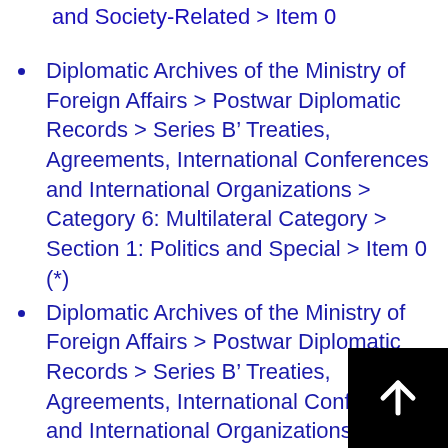and Society-Related > Item 0
Diplomatic Archives of the Ministry of Foreign Affairs > Postwar Diplomatic Records > Series B’ Treaties, Agreements, International Conferences and International Organizations > Category 6: Multilateral Category > Section 1: Politics and Special > Item 0 (*)
Diplomatic Archives of the Ministry of Foreign Affairs > Postwar Diplomatic Records > Series B’ Treaties, Agreements, International Conferences and International Organizations > Category 6: Multilateral Category > Section 3: Economics, Finance, Commerce, and Immigration-Related > Item 0
Diplomatic Archives of the Ministry of Foreign Affairs > Postwar Diplomatic Records